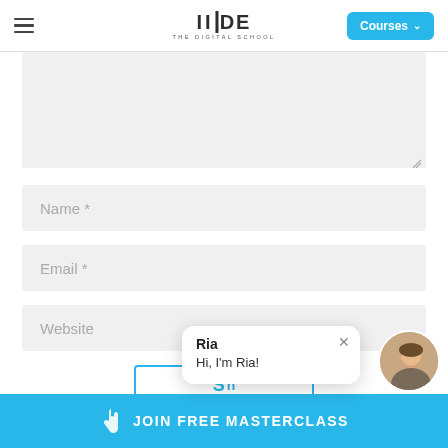IIDE — The Digital School | Courses
[Figure (screenshot): Textarea input field (empty, with resize handle at bottom right)]
Name *
Email *
Website
Ria
Hi, I'm Ria!
JOIN FREE MASTERCLASS